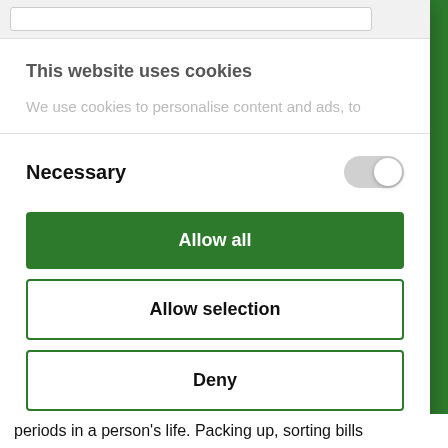This website uses cookies
We use cookies to personalise content and ads, to
Necessary
Allow all
Allow selection
Deny
Powered by Cookiebot by Usercentrics
periods in a person's life. Packing up, sorting bills